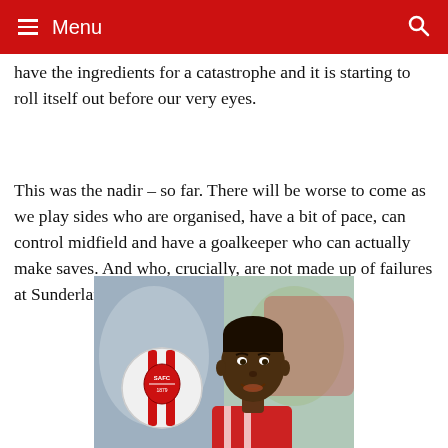Menu
have the ingredients for a catastrophe and it is starting to roll itself out before our very eyes.
This was the nadir – so far. There will be worse to come as we play sides who are organised, have a bit of pace, can control midfield and have a goalkeeper who can actually make saves. And who, crucially, are not made up of failures at Sunderland and failures at other clubs.
[Figure (photo): A Sunderland footballer holding a ball with the Sunderland AFC crest, smiling at the camera, wearing a red and white striped shirt]